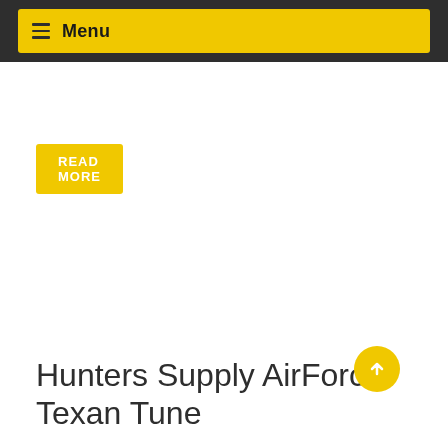Menu
READ MORE
Hunters Supply AirForce Texan Tune